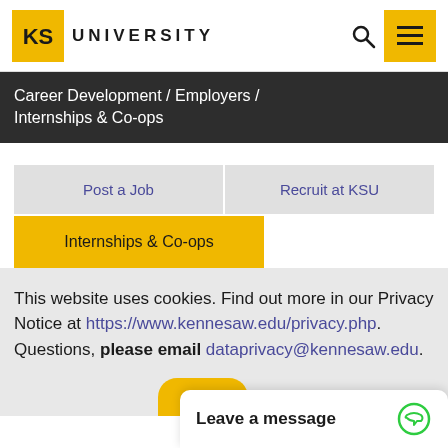KSU UNIVERSITY [logo + search + menu]
Career Development / Employers / Internships & Co-ops
Post a Job
Recruit at KSU
Internships & Co-ops
This website uses cookies. Find out more in our Privacy Notice at https://www.kennesaw.edu/privacy.php. Questions, please email dataprivacy@kennesaw.edu.
Leave a message